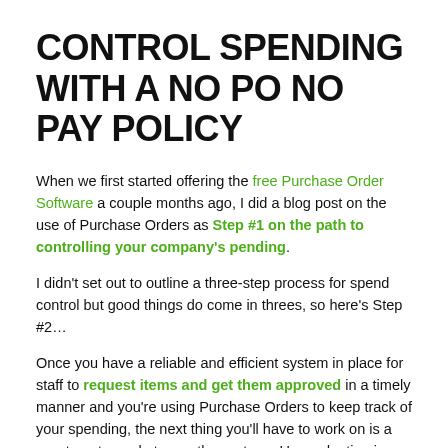CONTROL SPENDING WITH A NO PO NO PAY POLICY
When we first started offering the free Purchase Order Software a couple months ago, I did a blog post on the use of Purchase Orders as Step #1 on the path to controlling your company's pending.
I didn't set out to outline a three-step process for spend control but good things do come in threes, so here's Step #2…
Once you have a reliable and efficient system in place for staff to request items and get them approved in a timely manner and you're using Purchase Orders to keep track of your spending, the next thing you'll have to work on is a way to get people to use the system.  User adoption is critical to the success of an e-procurement initiative.